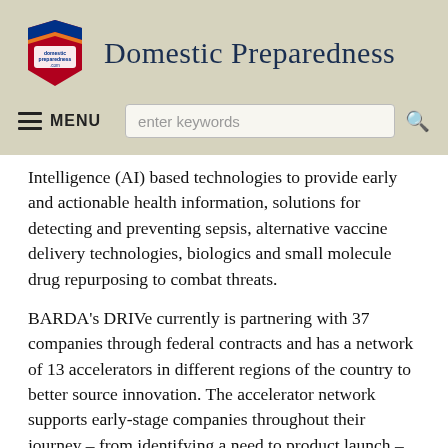Domestic Preparedness
Intelligence (AI) based technologies to provide early and actionable health information, solutions for detecting and preventing sepsis, alternative vaccine delivery technologies, biologics and small molecule drug repurposing to combat threats.
BARDA's DRIVe currently is partnering with 37 companies through federal contracts and has a network of 13 accelerators in different regions of the country to better source innovation. The accelerator network supports early-stage companies throughout their journey – from identifying a need to product launch – to help them overcome their biggest business and operational hurdles, and achieve success sooner. Through its accelerator network, DRIVe is providing 154 health security product developers with this wrap-around support. With the BARDA Ventures partnership, BARDA looks to expand that impact even further.